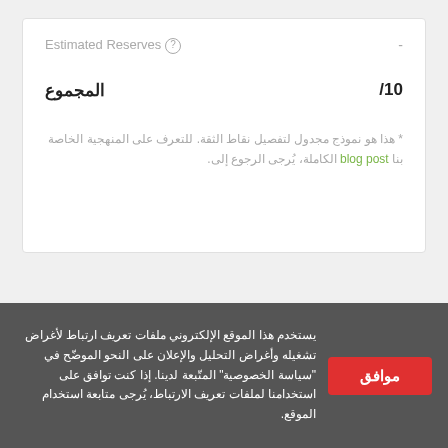Estimated Reserves  -
المجموع  /10
* هذا هو نموذج مجدول لتفصيل نقاط الثقة. للتعرف على المنهجية الخاصة بنا blog post الكاملة، يُرجى الرجوع إلى.
يستخدم هذا الموقع الإلكتروني ملفات تعريف ارتباط لأغراض تشغيله وأغراض التحليل والإعلان على النحو الموضّح في "سياسة الخصوصية" المتّبعة لدينا. إذا كنت توافق على استخدامنا لملفات تعريف الارتباط، يُرجى متابعة استخدام الموقع.
موافق